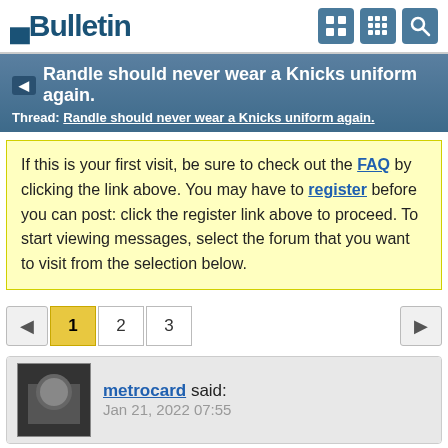vBulletin
Randle should never wear a Knicks uniform again. Thread: Randle should never wear a Knicks uniform again.
If this is your first visit, be sure to check out the FAQ by clicking the link above. You may have to register before you can post: click the register link above to proceed. To start viewing messages, select the forum that you want to visit from the selection below.
1 2 3
metrocard said: Jan 21, 2022 07:55
Randle should never wear a Knicks uniform again.
1558 minutes played.